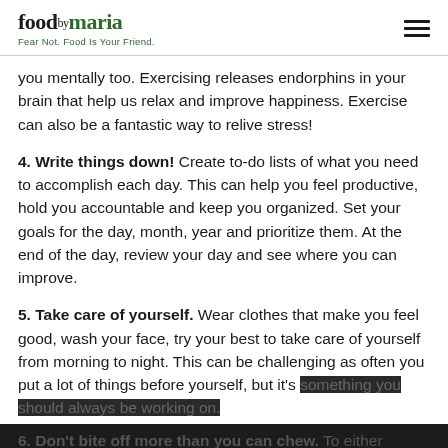foodbymaria — Fear Not. Food Is Your Friend.
you mentally too. Exercising releases endorphins in your brain that help us relax and improve happiness. Exercise can also be a fantastic way to relive stress!
4. Write things down! Create to-do lists of what you need to accomplish each day. This can help you feel productive, hold you accountable and keep you organized. Set your goals for the day, month, year and prioritize them. At the end of the day, review your day and see where you can improve.
5. Take care of yourself. Wear clothes that make you feel good, wash your face, try your best to take care of yourself from morning to night. This can be challenging as often you put a lot of things before yourself, but it's something you should always be working on.
6. Don't bite off more than you can chew. To either